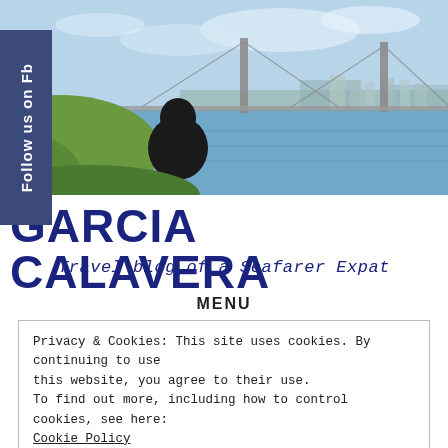[Figure (photo): Hero banner photo of a person sitting on a hill overlooking a large suspension bridge over water, with a city skyline in the background under a blue sky.]
GARCIA CALAVERA
Travel blog of a Seafarer Expat
MENU
Privacy & Cookies: This site uses cookies. By continuing to use this website, you agree to their use.
To find out more, including how to control cookies, see here:
Cookie Policy
Close and accept